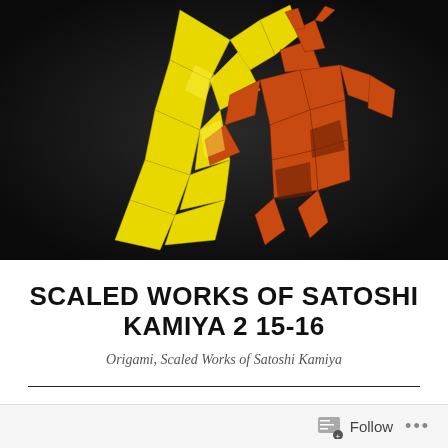[Figure (photo): Origami figures on dark background: a yellow origami figure and an orange/red detailed origami samurai or insect-like figure, photographed against a near-black backdrop.]
SCALED WORKS OF SATOSHI KAMIYA 2 15-16
Origami, Scaled Works of Satoshi Kamiya
I been pretty busy recently.
Follow ...